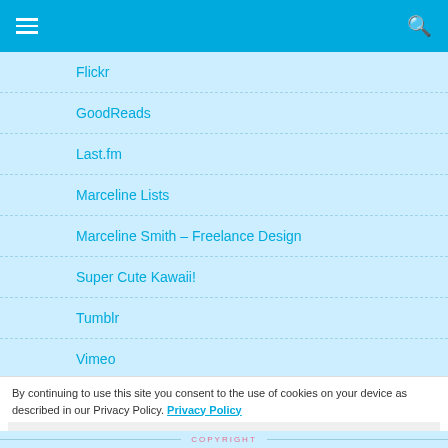Navigation header with hamburger menu and search icon
Flickr
GoodReads
Last.fm
Marceline Lists
Marceline Smith – Freelance Design
Super Cute Kawaii!
Tumblr
Vimeo
ARCHIVES
By continuing to use this site you consent to the use of cookies on your device as described in our Privacy Policy. Privacy Policy
Close
COPYRIGHT